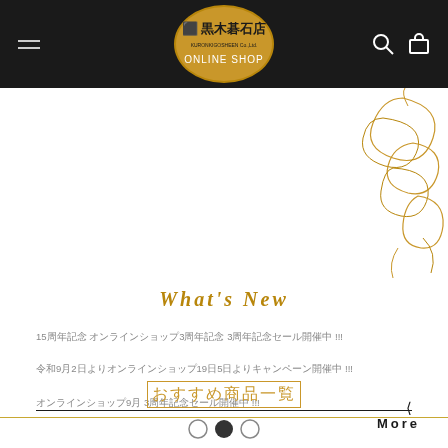黒木碁石店 ONLINE SHOP
[Figure (illustration): Decorative golden cloud scroll illustration in top-right corner]
What's New
15周年記念 オンラインショップ3周年記念 3周年記念セール開催中 !!!
令和9月2日よりオンラインショップ19日5日よりキャンペーン開催中 !!!
オンラインショップ9月 3周年記念セール開催中 !!!
More
おすすめ商品一覧